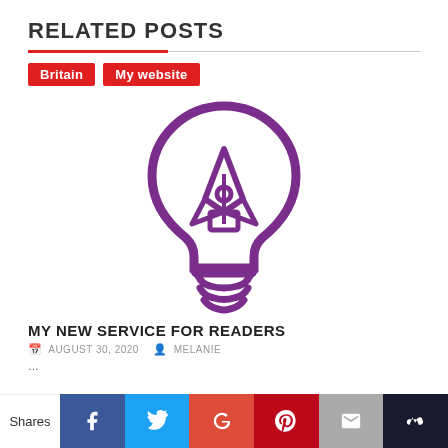RELATED POSTS
Britain
My website
[Figure (illustration): Purple lightbulb icon with a fountain pen nib inside, representing writing/blogging ideas]
MY NEW SERVICE FOR READERS
AUGUST 30, 2020   MELANIE
...
Shares | Facebook | Twitter | Google+ | Pinterest | Email | Crown